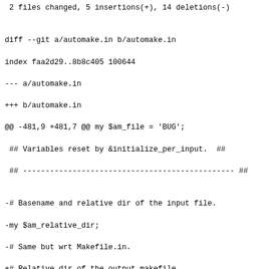2 files changed, 5 insertions(+), 14 deletions(-)

diff --git a/automake.in b/automake.in
index faa2d29..8b8c405 100644
--- a/automake.in
+++ b/automake.in
@@ -481,9 +481,7 @@ my $am_file = 'BUG';
 ## Variables reset by &initialize_per_input.  ##
 ## ----------------------------------------------- ##

-# Basename and relative dir of the input file.
-my $am_relative_dir;
-# Same but wrt Makefile.in.
+# Relative dir of the output makefile.
 my $relative_dir;

 # Greatest timestamp of the output's dependencies (exclu
@@ -634,7 +632,6 @@ sub initialize_per_input ()
 {
     reset_local_duplicates ();

-    $am_relative_dir = undef;
     $relative_dir = undef;

     $output_deps_greatest_timestamp = 0;
@@ -3771,12 +3768,6 @@ sub handle_dist ()
     # to set it.
     $handle_dist_run = 1;

-  # Scan EXTRA_DIST to see if we need to distribute anyt